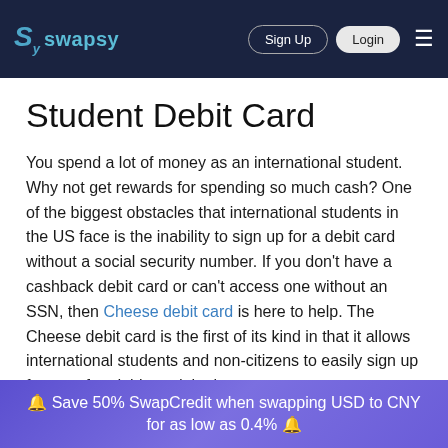swapsy — Sign Up  Login
Student Debit Card
You spend a lot of money as an international student. Why not get rewards for spending so much cash? One of the biggest obstacles that international students in the US face is the inability to sign up for a debit card without a social security number. If you don't have a cashback debit card or can't access one without an SSN, then Cheese debit card is here to help. The Cheese debit card is the first of its kind in that it allows international students and non-citizens to easily sign up for a no-fee debit card that's
🔔 Save 50% SwapCredit when swapping USD to CNY for as low as 0.4% 🔔